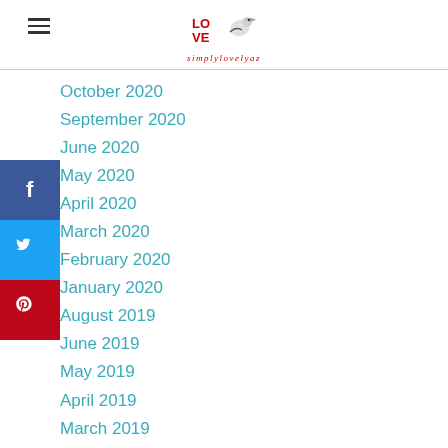simplylovelyaz logo header
October 2020
September 2020
June 2020
May 2020
April 2020
March 2020
February 2020
January 2020
August 2019
June 2019
May 2019
April 2019
March 2019
February 2019
January 2019
December 2018
October 2018